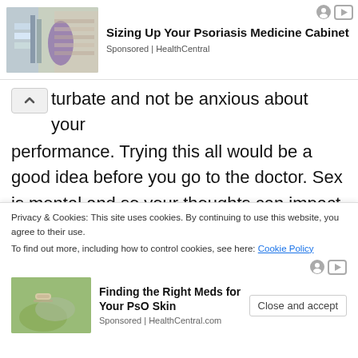[Figure (screenshot): Ad banner: Sizing Up Your Psoriasis Medicine Cabinet, Sponsored by HealthCentral, with image of woman in pharmacy aisle]
turbate and not be anxious about your performance. Trying this all would be a good idea before you go to the doctor. Sex is mental and so your thoughts can impact your performance directly if you are stressed.
(partial, clipped link text)
Privacy & Cookies: This site uses cookies. By continuing to use this website, you agree to their use.
To find out more, including how to control cookies, see here: Cookie Policy
[Figure (screenshot): Ad banner: Finding the Right Meds for Your PsO Skin, Sponsored by HealthCentral.com, with image of hand holding medication]
Close and accept